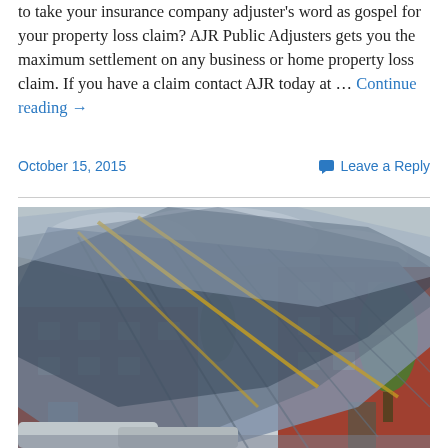to take your insurance company adjuster's word as gospel for your property loss claim? AJR Public Adjusters gets you the maximum settlement on any business or home property loss claim. If you have a claim contact AJR today at … Continue reading →
October 15, 2015
Leave a Reply
[Figure (photo): Photograph showing severe storm or wind damage to a building roof. The roof structure, appearing to be metal or glass panels, has been peeled back and collapsed. A red brick multi-story building is visible behind the damaged roof, with trees in the background and cars partially visible in the foreground.]